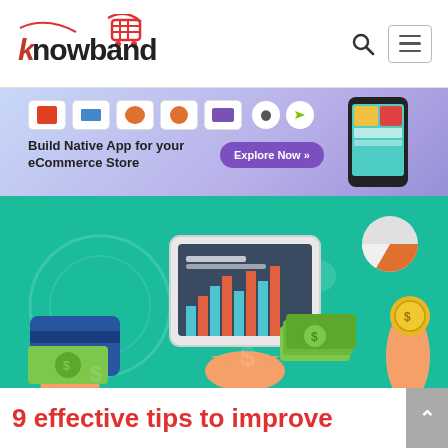Knowband
[Figure (illustration): Knowband logo with shopping cart icon and brand name]
[Figure (illustration): Banner advertisement: Build Native App for your eCommerce Store with platform logos (PrestaShop, OpenCart, Magento, Magento 2, WooCommerce) and mobile app screenshot with Explore Now button]
[Figure (illustration): eCommerce illustration on teal background showing hands holding credit card, tablet with bar chart, stacks of cash/coins, and pie chart]
9 effective tips to improve